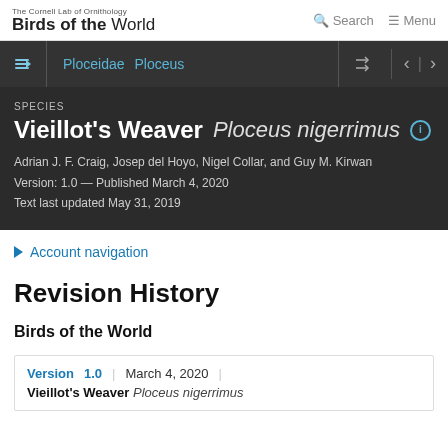The Cornell Lab of Ornithology Birds of the World | Search | Menu
Ploceidae  Ploceus
SPECIES
Vieillot's Weaver  Ploceus nigerrimus
Adrian J. F. Craig, Josep del Hoyo, Nigel Collar, and Guy M. Kirwan
Version: 1.0 — Published March 4, 2020
Text last updated May 31, 2019
Account navigation
Revision History
Birds of the World
Version 1.0 | March 4, 2020 |
Vieillot's Weaver  Ploceus nigerrimus